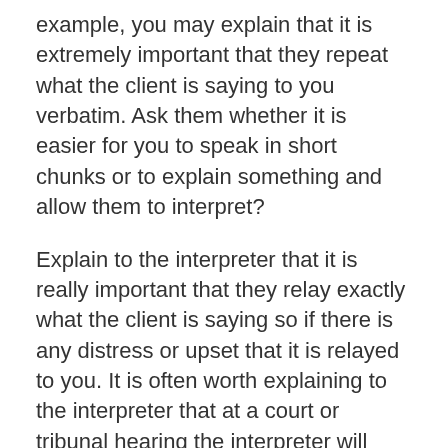example, you may explain that it is extremely important that they repeat what the client is saying to you verbatim. Ask them whether it is easier for you to speak in short chunks or to explain something and allow them to interpret?
Explain to the interpreter that it is really important that they relay exactly what the client is saying so if there is any distress or upset that it is relayed to you. It is often worth explaining to the interpreter that at a court or tribunal hearing the interpreter will translate verbatim so it is important that you know if the client has difficulty with particular terminology or understanding questions being put to them.
Make sure that you speak directly to the client despite using an interpreter, to ensure that the discussion is between you and the client rather than the client and